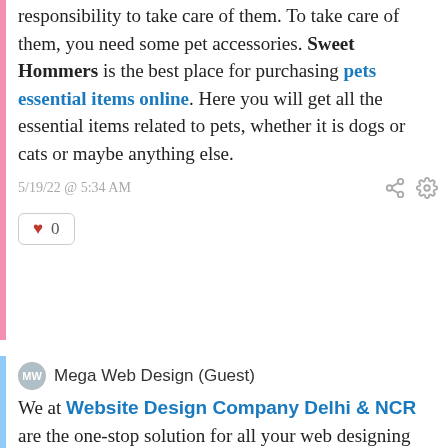responsibility to take care of them. To take care of them, you need some pet accessories. Sweet Hommers is the best place for purchasing pets essential items online. Here you will get all the essential items related to pets, whether it is dogs or cats or maybe anything else.
5/19/22 @ 5:34 AM
0
Mega Web Design (Guest)
We at Website Design Company Delhi & NCR are the one-stop solution for all your web designing and development needs! Mega Web Design offers a complete web solution to customers located in and outside India. Our team has extensive